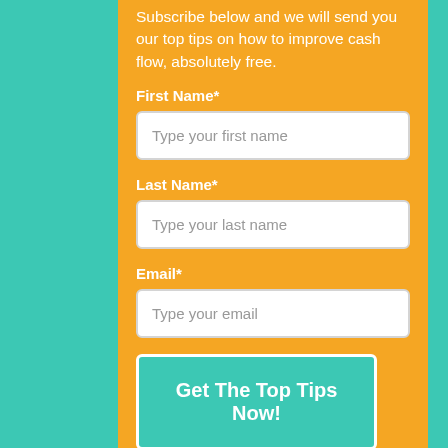Subscribe below and we will send you our top tips on how to improve cash flow, absolutely free.
First Name*
Type your first name
Last Name*
Type your last name
Email*
Type your email
Get The Top Tips Now!
Marketing by
ActiveCampaign ›